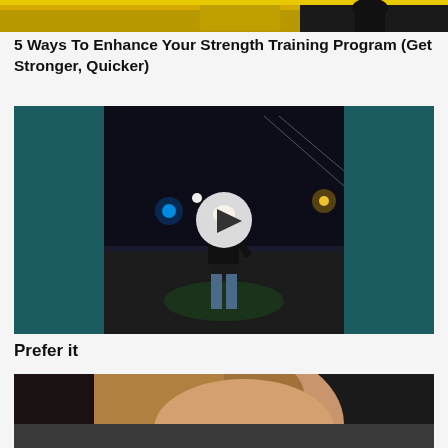[Figure (photo): Top partial image showing a person in a yellow-background fitness/strength training context, partially cropped]
5 Ways To Enhance Your Strength Training Program (Get Stronger, Quicker)
[Figure (photo): Nighttime street scene showing a person standing in the middle of a road with arms raised, with a play button overlay indicating a video thumbnail]
Prefer it
[Figure (photo): Partial image of a woman with brown/blonde hair, close-up portrait shot]